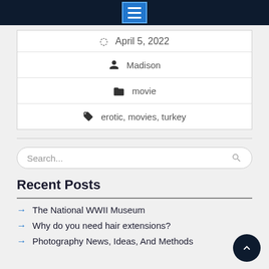Navigation menu button
April 5, 2022
Madison
movie
erotic, movies, turkey
Search...
Recent Posts
The National WWII Museum
Why do you need hair extensions?
Photography News, Ideas, And Methods